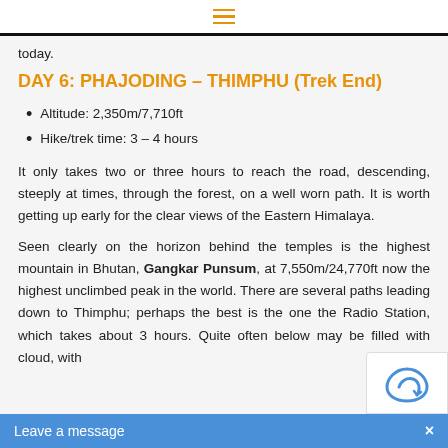☰ (hamburger menu icon)
today.
DAY 6: PHAJODING – THIMPHU (Trek End)
Altitude: 2,350m/7,710ft
Hike/trek time: 3 – 4 hours
It only takes two or three hours to reach the road, descending, steeply at times, through the forest, on a well worn path. It is worth getting up early for the clear views of the Eastern Himalaya.
Seen clearly on the horizon behind the temples is the highest mountain in Bhutan, Gangkar Punsum, at 7,550m/24,770ft now the highest unclimbed peak in the world. There are several paths leading down to Thimphu; perhaps the best is the one the Radio Station, which takes about 3 hours. Quite often below may be filled with cloud, with